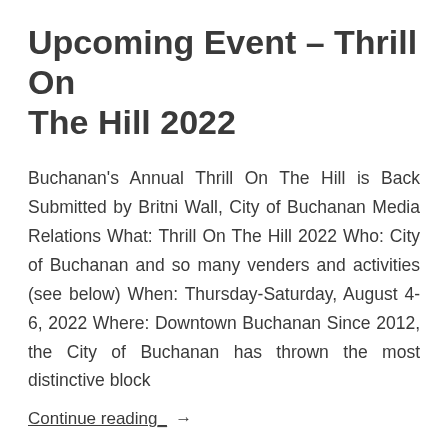Upcoming Event – Thrill On The Hill 2022
Buchanan's Annual Thrill On The Hill is Back Submitted by Britni Wall, City of Buchanan Media Relations What: Thrill On The Hill 2022 Who: City of Buchanan and so many venders and activities (see below) When: Thursday-Saturday, August 4-6, 2022 Where: Downtown Buchanan Since 2012, the City of Buchanan has thrown the most distinctive block
Continue reading  →
buchananchronicle   July 23, 2022
All Issues, Buchanan, Businesses, Celebration, Charities, Clubs,